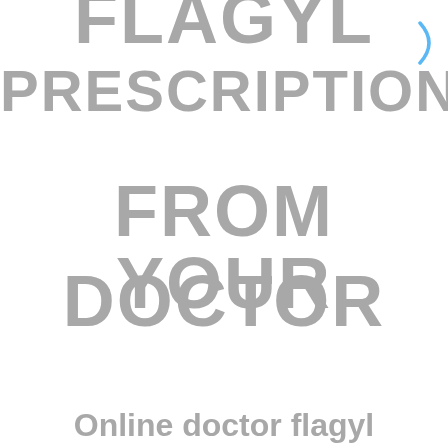FLAGYL PRESCRIPTION FROM YOUR DOCTOR
Online doctor flagyl